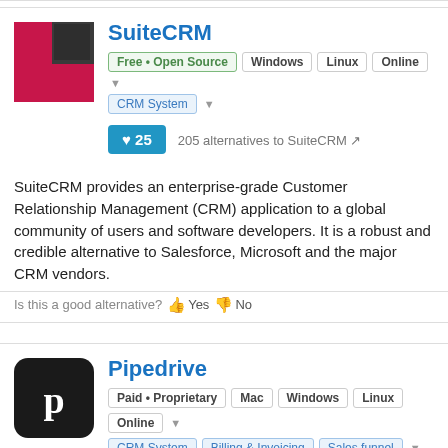SuiteCRM
Free • Open Source | Windows | Linux | Online
CRM System
205 alternatives to SuiteCRM
SuiteCRM provides an enterprise-grade Customer Relationship Management (CRM) application to a global community of users and software developers. It is a robust and credible alternative to Salesforce, Microsoft and the major CRM vendors.
Is this a good alternative? Yes No
Pipedrive
Paid • Proprietary | Mac | Windows | Linux | Online
CRM System | Billing & Invoicing | Sales funnel